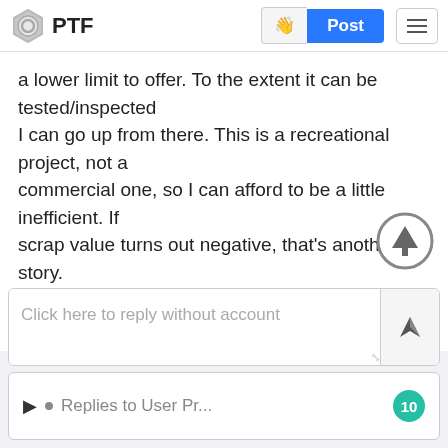PTF
a lower limit to offer. To the extent it can be tested/inspected
I can go up from there. This is a recreational project, not a
commercial one, so I can afford to be a little inefficient. If
scrap value turns out negative, that's another story.
Thanks for reading, and any guidance....
bob prohaska
[Figure (illustration): Circular scroll-to-top button with upward arrow]
Click here to reply without account
Replies to User Pr...